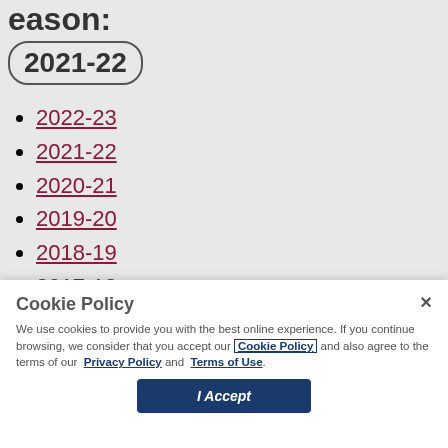eason:
2021-22
2022-23
2021-22
2020-21
2019-20
2018-19
2017-18
Cookie Policy
We use cookies to provide you with the best online experience. If you continue browsing, we consider that you accept our Cookie Policy and also agree to the terms of our Privacy Policy and Terms of Use.
I Accept